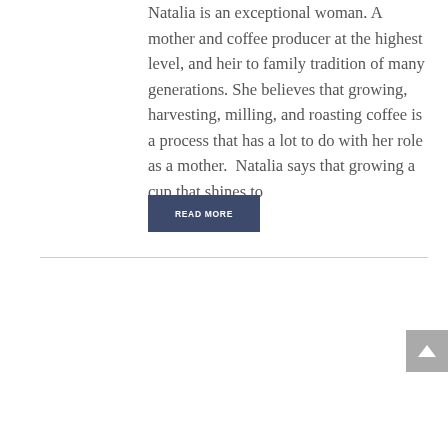Natalia is an exceptional woman. A mother and coffee producer at the highest level, and heir to family tradition of many generations. She believes that growing, harvesting, milling, and roasting coffee is a process that has a lot to do with her role as a mother.  Natalia says that growing a cup that shines to
READ MORE
[Figure (photo): A composite image showing a smiling young woman on the left side and a blue promotional banner on the right with a quote: 'Our purpose is to offer excellent coffee that is sustainable over time.' attributed to Daniela Gutierrez, La Montaña Farm, Tarrazú]